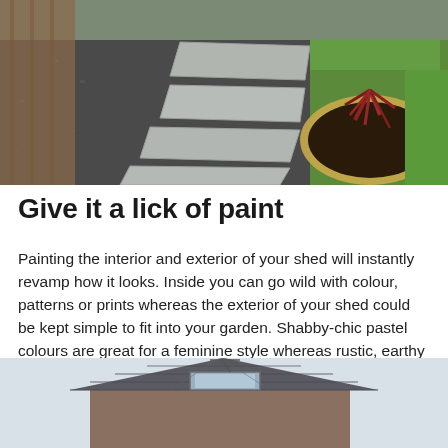[Figure (photo): A garden path made of square grey stepping stones set in dark gravel/slate chippings, with a raised flower bed containing a red-leaved plant bordered by a tan-coloured edging strip, and green grass visible to the right.]
Give it a lick of paint
Painting the interior and exterior of your shed will instantly revamp how it looks. Inside you can go wild with colour, patterns or prints whereas the exterior of your shed could be kept simple to fit into your garden. Shabby-chic pastel colours are great for a feminine style whereas rustic, earthy and neutral tones blend well with a country forest theme.
[Figure (photo): A house rooftop with a grey slate/tile roof, a skylight window, and a television aerial, against a light sky.]